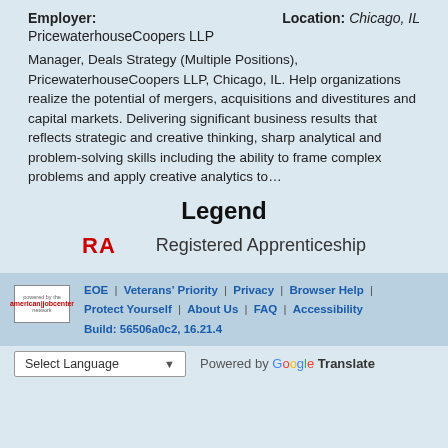Employer: PricewaterhouseCoopers LLP   Location: Chicago, IL
Manager, Deals Strategy (Multiple Positions), PricewaterhouseCoopers LLP, Chicago, IL. Help organizations realize the potential of mergers, acquisitions and divestitures and capital markets. Delivering significant business results that reflects strategic and creative thinking, sharp analytical and problem-solving skills including the ability to frame complex problems and apply creative analytics to...
Legend
RA   Registered Apprenticeship
EOE | Veterans' Priority | Privacy | Browser Help | Protect Yourself | About Us | FAQ | Accessibility Build: 56506a0c2, 16.21.4
Select Language   Powered by Google Translate